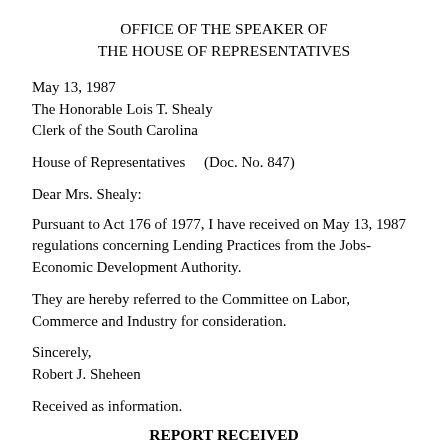OFFICE OF THE SPEAKER OF THE HOUSE OF REPRESENTATIVES
May 13, 1987
The Honorable Lois T. Shealy
Clerk of the South Carolina
House of Representatives    (Doc. No. 847)
Dear Mrs. Shealy:
Pursuant to Act 176 of 1977, I have received on May 13, 1987 regulations concerning Lending Practices from the Jobs-Economic Development Authority.
They are hereby referred to the Committee on Labor, Commerce and Industry for consideration.
Sincerely,
Robert J. Sheheen
Received as information.
REPORT RECEIVED
The following was received.